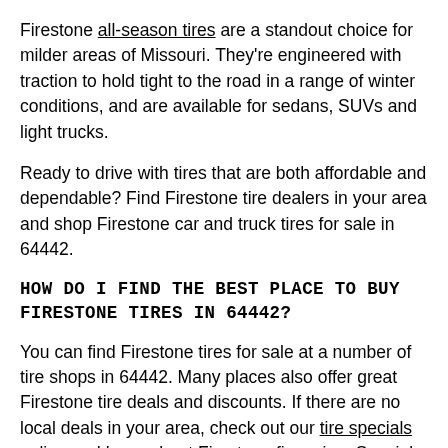Firestone all-season tires are a standout choice for milder areas of Missouri. They're engineered with traction to hold tight to the road in a range of winter conditions, and are available for sedans, SUVs and light trucks.
Ready to drive with tires that are both affordable and dependable? Find Firestone tire dealers in your area and shop Firestone car and truck tires for sale in 64442.
HOW DO I FIND THE BEST PLACE TO BUY FIRESTONE TIRES IN 64442?
You can find Firestone tires for sale at a number of tire shops in 64442. Many places also offer great Firestone tire deals and discounts. If there are no local deals in your area, check out our tire specials online and learn about Firestone financing. Special financing can help you keep moving with the tires you need, when you need them, because it's not always possible to pick a convenient time for your new tire purchase in 64442. After installation, don't forget to properly